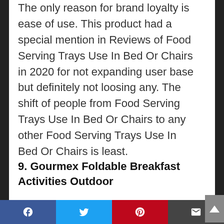The only reason for brand loyalty is ease of use. This product had a special mention in Reviews of Food Serving Trays Use In Bed Or Chairs in 2020 for not expanding user base but definitely not loosing any. The shift of people from Food Serving Trays Use In Bed Or Chairs to any other Food Serving Trays Use In Bed Or Chairs is least.
9. Gourmex Foldable Breakfast Activities Outdoor
[Figure (photo): Photo of a dark/black foldable breakfast tray, viewed from above at slight angle, showing the flat surface and folding legs.]